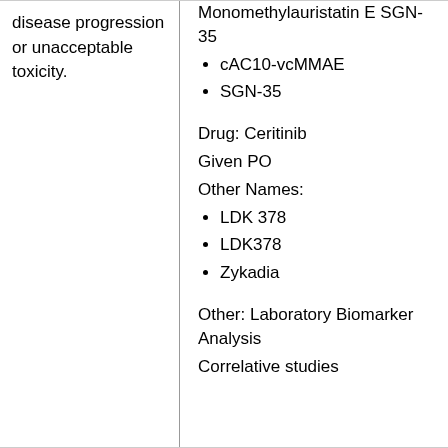disease progression or unacceptable toxicity.
Monomethylauristatin E SGN-35
cAC10-vcMMAE
SGN-35
Drug: Ceritinib
Given PO
Other Names:
LDK 378
LDK378
Zykadia
Other: Laboratory Biomarker Analysis
Correlative studies